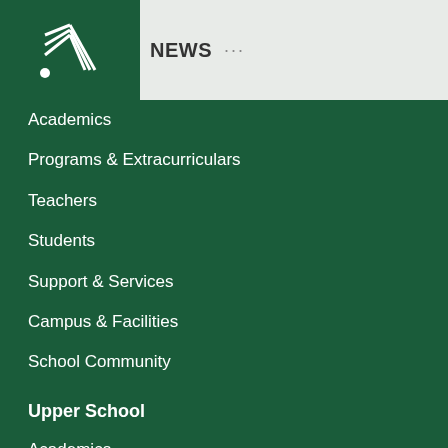[Figure (logo): School logo with white geometric design on dark green background]
NEWS ...
Academics
Programs & Extracurriculars
Teachers
Students
Support & Services
Campus & Facilities
School Community
Upper School
Academics
Programs & Extracurriculars
Teachers
Students